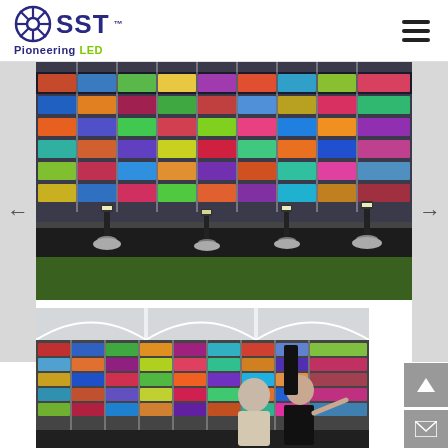[Figure (logo): SST Pioneering LED logo with wheel/spoke emblem in dark blue and green text]
[Figure (photo): Outdoor installation of illuminated colorful glass/acrylic panel wall with bollard lights on gravel and grass]
[Figure (photo): Two people (man and woman) viewing a colorful illuminated wall installation under a glass canopy structure]